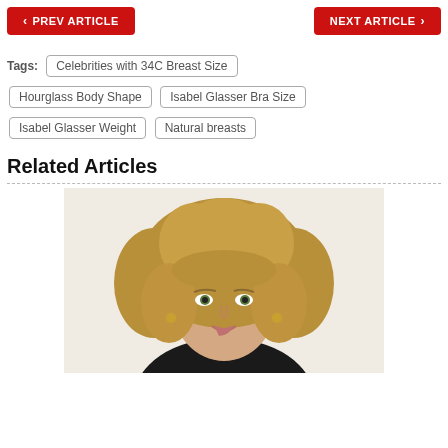PREV ARTICLE | NEXT ARTICLE
Tags: Celebrities with 34C Breast Size | Hourglass Body Shape | Isabel Glasser Bra Size | Isabel Glasser Weight | Natural breasts
Related Articles
[Figure (photo): Portrait photo of a woman with curly blonde hair, smiling, wearing a dark top]